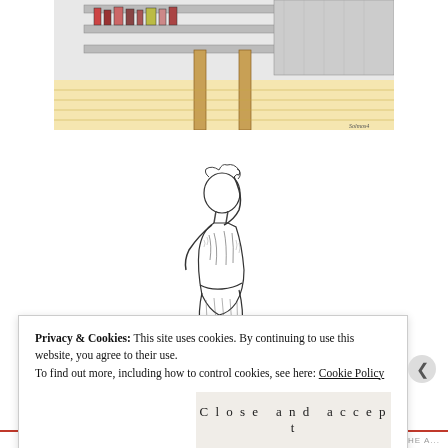[Figure (illustration): Pen and ink illustration of a pharmacy or store interior with shelves of bottles and products, wooden floor, viewed from outside or at an angle. Small signature visible at bottom right.]
[Figure (illustration): Pen and ink drawing of a classical female statue or figure with one arm raised above her head and the other holding something at her waist, in a semi-draped pose, standing on a simple base line.]
Privacy & Cookies: This site uses cookies. By continuing to use this website, you agree to their use.
To find out more, including how to control cookies, see here: Cookie Policy
Close and accept